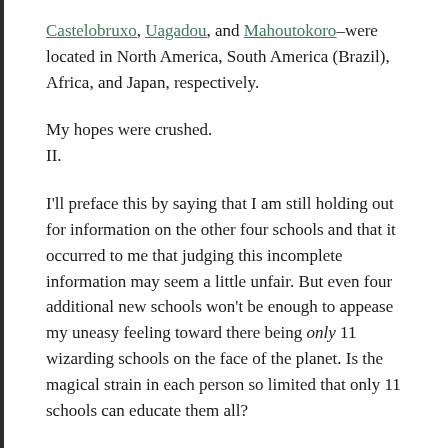Castelobruxo, Uagadou, and Mahoutokoro–were located in North America, South America (Brazil), Africa, and Japan, respectively.
My hopes were crushed.
II.
I'll preface this by saying that I am still holding out for information on the other four schools and that it occurred to me that judging this incomplete information may seem a little unfair. But even four additional new schools won't be enough to appease my uneasy feeling toward there being only 11 wizarding schools on the face of the planet. Is the magical strain in each person so limited that only 11 schools can educate them all?